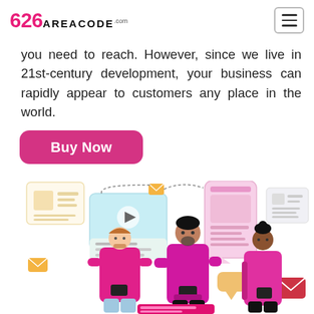626 AREACODE.com
you need to reach. However, since we live in 21st-century development, your business can rapidly appear to customers any place in the world.
[Figure (illustration): Pink 'Buy Now' button with rounded corners]
[Figure (illustration): Illustration of three people in pink/magenta jackets using smartphones, surrounded by digital communication icons including email envelopes, a video player, chat bubbles, document previews, and a phone screen showing a news article. The image represents digital marketing or telecommunications.]